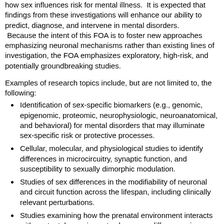how sex influences risk for mental illness. It is expected that findings from these investigations will enhance our ability to predict, diagnose, and intervene in mental disorders. Because the intent of this FOA is to foster new approaches emphasizing neuronal mechanisms rather than existing lines of investigation, the FOA emphasizes exploratory, high-risk, and potentially groundbreaking studies.
Examples of research topics include, but are not limited to, the following:
Identification of sex-specific biomarkers (e.g., genomic, epigenomic, proteomic, neurophysiologic, neuroanatomical, and behavioral) for mental disorders that may illuminate sex-specific risk or protective processes.
Cellular, molecular, and physiological studies to identify differences in microcircuitry, synaptic function, and susceptibility to sexually dimorphic modulation.
Studies of sex differences in the modifiability of neuronal and circuit function across the lifespan, including clinically relevant perturbations.
Studies examining how the prenatal environment interacts with postnatal experience to shape sex differences in behavior, brain structure and function.